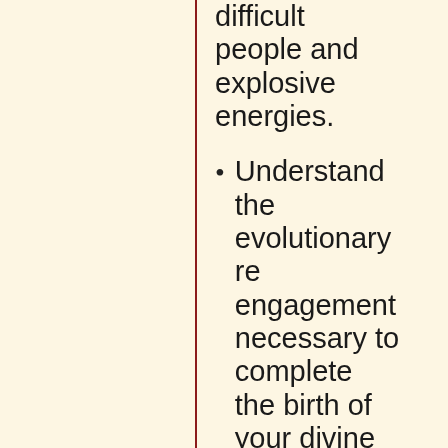dealing with difficult people and explosive energies.
Understand the evolutionary re-engagement necessary to complete the birth of your divine humanity.
Go beyond the pursuit of